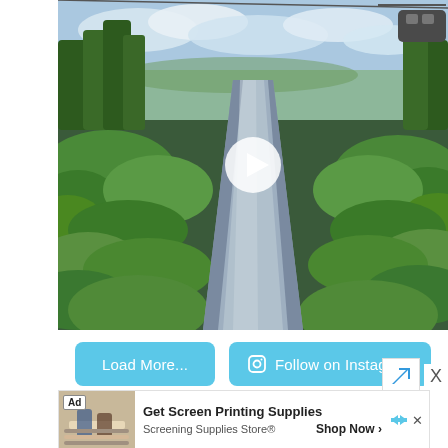[Figure (photo): Outdoor video thumbnail showing a metal luge/slide track going down a hillside with green trees and bushes on both sides, cable car gondolas visible in the upper right, blue sky with clouds. A white play button triangle is overlaid in the center.]
[Figure (other): Load More button and Follow on Instagram button, both light blue rounded rectangles]
[Figure (other): Advertisement bar: Get Screen Printing Supplies from Screening Supplies Store, Shop Now button, with Ad label and close/dismiss icons]